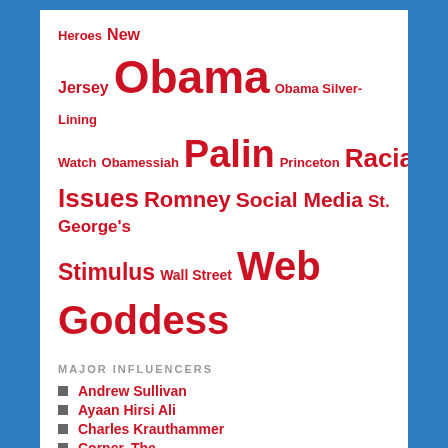[Figure (infographic): Tag cloud with political blog topics in red bold text at varying sizes: Heroes, New Jersey, Obama (largest), Obama Silver-Lining Watch, Obamessiah, Palin, Princeton, Racial Issues, Romney, Social Media, St. George's, Stimulus, Wall Street, Web Goddess (very large)]
MAJOR INFLUENCERS
Andrew Sullivan
Ayaan Hirsi Ali
Charles Krauthammer
Corner, The
Gay Patriot
Instapundit
James Taranto
Neo-Neocon
Pajamas Media
Slate
HYPERLOCAL: MAPLEWOOD, NJ